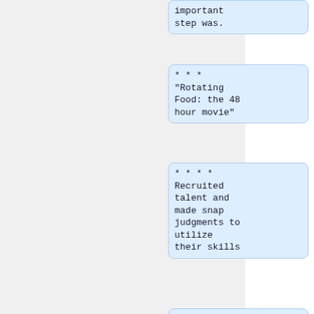important step was.
*** "Rotating Food: the 48 hour movie"
**** Recruited talent and made snap judgments to utilize their skills
*** "Do You Copy" October 2002 - January 2003
****Each [continues]